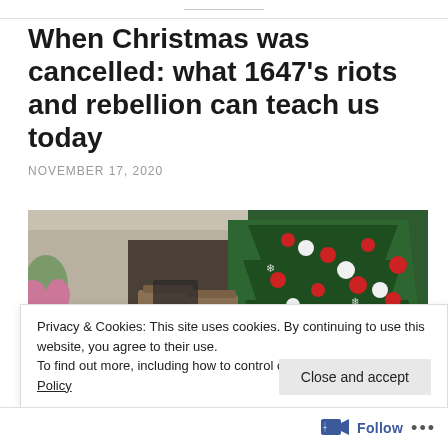When Christmas was cancelled: what 1647's riots and rebellion can teach us today
NOVEMBER 17, 2020
[Figure (photo): A decorated Christmas tree with red and white ornaments, and outdoor cafe chairs with red-and-white barrier tape, photographed outside a closed establishment.]
Privacy & Cookies: This site uses cookies. By continuing to use this website, you agree to their use.
To find out more, including how to control cookies, see here: Cookie Policy
Close and accept